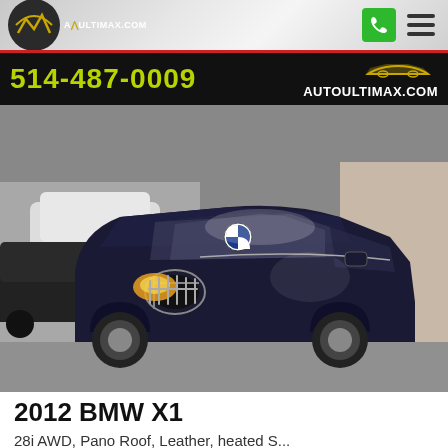AUTOULTIMAX.COM
514-487-0009  AUTOULTIMAX.COM
[Figure (photo): Dark blue BMW X1 SUV parked in a car dealership lot, with other vehicles visible in the background including a black Mercedes and a white SUV. The dealership appears to be an indoor/outdoor lot.]
2012 BMW X1
28i AWD, Pano Roof, Leather, heated S...